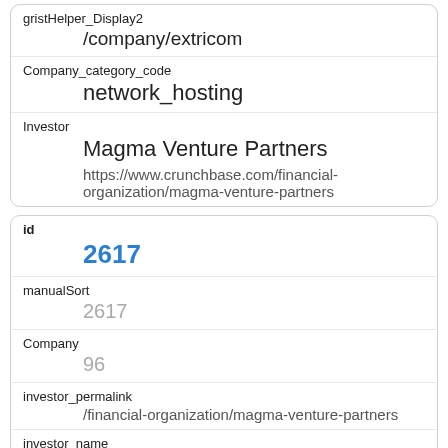| gristHelper_Display2 | /company/extricom |
| Company_category_code | network_hosting |
| Investor | Magma Venture Partners
https://www.crunchbase.com/financial-organization/magma-venture-partners |
| id | 2617 |
| manualSort | 2617 |
| Company | 96 |
| investor_permalink | /financial-organization/magma-venture-partners |
| investor_name | Magma Venture Partners |
| investor_category_code |  |